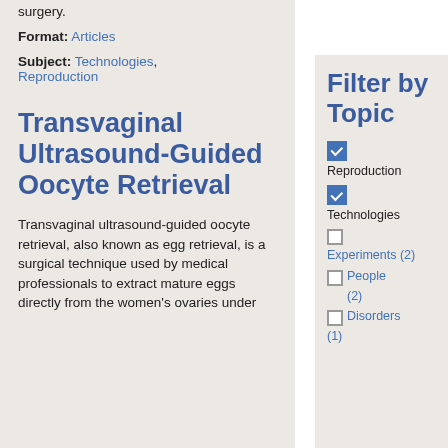surgery.
Format: Articles
Subject: Technologies, Reproduction
Transvaginal Ultrasound-Guided Oocyte Retrieval
Transvaginal ultrasound-guided oocyte retrieval, also known as egg retrieval, is a surgical technique used by medical professionals to extract mature eggs directly from the women's ovaries under
Filter by Topic
Reproduction (checked)
Technologies (checked)
Experiments (2)
People (2)
Disorders (1)